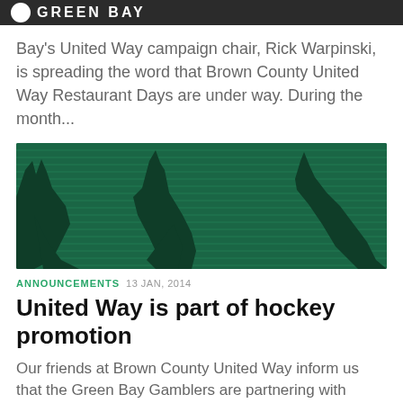GREEN BAY
Bay's United Way campaign chair, Rick Warpinski, is spreading the word that Brown County United Way Restaurant Days are under way. During the month...
[Figure (illustration): Green and dark green decorative illustration showing abstract animal silhouettes (possibly deer or moose) with horizontal line pattern background]
ANNOUNCEMENTS  13 JAN, 2014
United Way is part of hockey promotion
Our friends at Brown County United Way inform us that the Green Bay Gamblers are partnering with United Way to